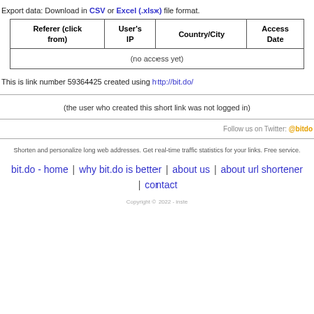Export data: Download in CSV or Excel (.xlsx) file format.
| Referer (click from) | User's IP | Country/City | Access Date |
| --- | --- | --- | --- |
| (no access yet) |  |  |  |
This is link number 59364425 created using http://bit.do/
(the user who created this short link was not logged in)
Follow us on Twitter: @bitdo
Shorten and personalize long web addresses. Get real-time traffic statistics for your links. Free service.
bit.do - home | why bit.do is better | about us | about url shortener | contact
Copyright © 2022 - inste